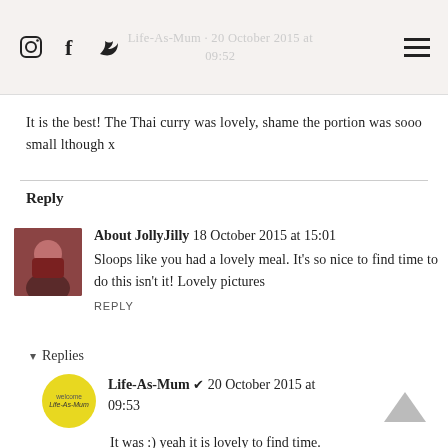Life-As-Mum · 20 October 2015 at 09:52
It is the best! The Thai curry was lovely, shame the portion was sooo small lthough x
Reply
About JollyJilly 18 October 2015 at 15:01
Sloops like you had a lovely meal. It's so nice to find time to do this isn't it! Lovely pictures
REPLY
▾ Replies
Life-As-Mum ✔ 20 October 2015 at 09:53
It was :) yeah it is lovely to find time.